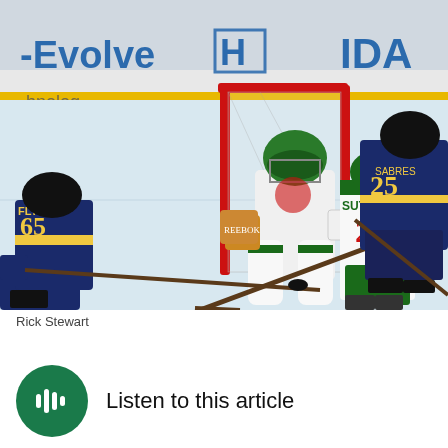[Figure (photo): NHL hockey game action photo showing players near the goal. A Buffalo Sabres player wearing #65 FLYNN is on the left, a Minnesota Wild goalie in green helmet and white gear is defending the net, a Wild player wearing #20 SUTTER is in white and green, and a Sabres player #25 is on the right. Arena boards visible with partial text 'Evolve' and 'Honda' logos. Puck is on the ice in front of the net.]
Rick Stewart
Listen to this article